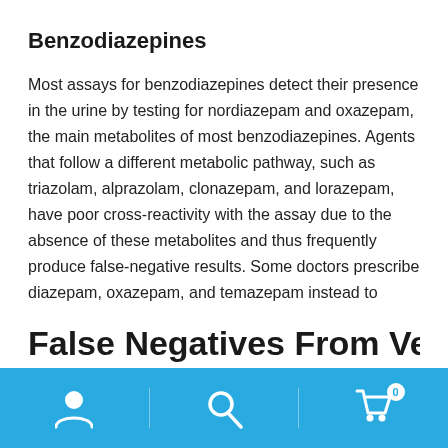Benzodiazepines
Most assays for benzodiazepines detect their presence in the urine by testing for nordiazepam and oxazepam, the main metabolites of most benzodiazepines. Agents that follow a different metabolic pathway, such as triazolam, alprazolam, clonazepam, and lorazepam, have poor cross-reactivity with the assay due to the absence of these metabolites and thus frequently produce false-negative results. Some doctors prescribe diazepam, oxazepam, and temazepam instead to reduce lab confirmations.
False Negatives From Very High
[Figure (other): App bottom navigation bar with sky blue background containing user/account icon, search icon, and shopping cart icon with badge showing 0]